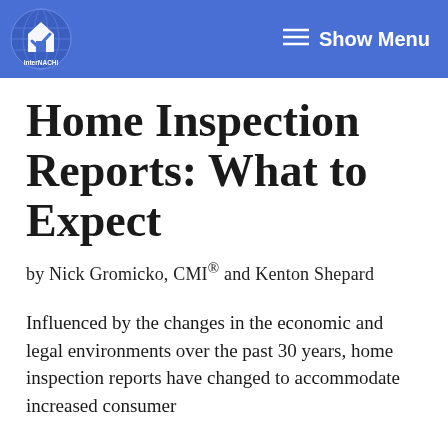InterNACHI — Show Menu
Home Inspection Reports: What to Expect
by Nick Gromicko, CMI® and Kenton Shepard
Influenced by the changes in the economic and legal environments over the past 30 years, home inspection reports have changed to accommodate increased consumer